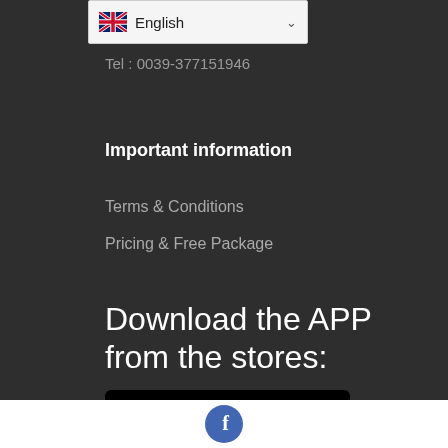[Figure (screenshot): Language selector dropdown showing UK flag and 'English' text with chevron]
Tel : 0039-377151946
Important information
Terms & Conditions
Pricing & Free Package
Download the APP from the stores:
[Figure (logo): Google Play Store badge with play triangle icon, text 'ANDROID APP ON Google play']
Facebook icon